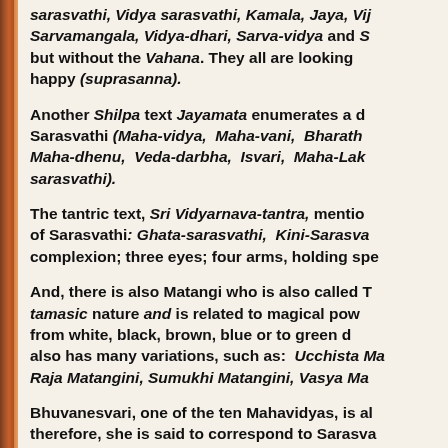sarasvathi, Vidya sarasvathi, Kamala, Jaya, Vi... Sarvamangala, Vidya-dhari, Sarva-vidya and S... but without the Vahana. They all are looking happy (suprasanna).
Another Shilpa text Jayamata enumerates a d... Sarasvathi (Maha-vidya, Maha-vani, Bharath... Maha-dhenu, Veda-darbha, Isvari, Maha-Lak... sarasvathi).
The tantric text, Sri Vidyarnava-tantra, mentio... of Sarasvathi: Ghata-sarasvathi, Kini-Sarasva... complexion; three eyes; four arms, holding spe...
And, there is also Matangi who is also called T... tamasic nature and is related to magical pow... from white, black, brown, blue or to green d... also has many variations, such as: Ucchista Ma... Raja Matangini, Sumukhi Matangini, Vasya Ma...
Bhuvanesvari, one of the ten Mahavidyas, is al... therefore, she is said to correspond to Sarasva...